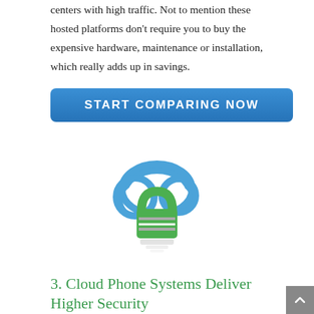centers with high traffic. Not to mention these hosted platforms don't require you to buy the expensive hardware, maintenance or installation, which really adds up in savings.
[Figure (illustration): Blue cloud icon with a green padlock in the center, symbolizing cloud security.]
3. Cloud Phone Systems Deliver Higher Security